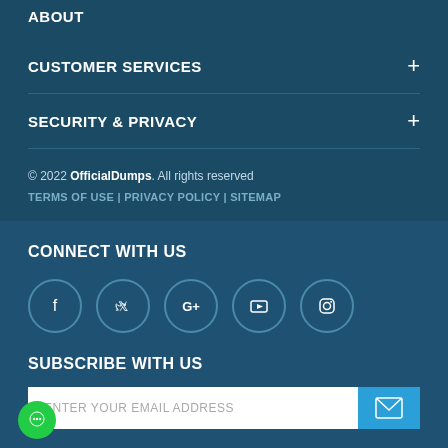ABOUT
CUSTOMER SERVICES
SECURITY & PRIVACY
© 2022 OfficialDumps. All rights reserved
TERMS OF USE | PRIVACY POLICY | SITEMAP
CONNECT WITH US
[Figure (other): Social media icons: Facebook, Twitter, Google+, YouTube, Instagram in circular outlines]
SUBSCRIBE WITH US
ENTER YOUR EMAIL ADDRESS